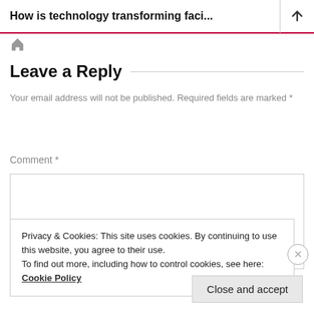How is technology transforming faci...
[Figure (other): Home icon (house symbol) navigation button]
Leave a Reply
Your email address will not be published. Required fields are marked *
Comment *
Privacy & Cookies: This site uses cookies. By continuing to use this website, you agree to their use.
To find out more, including how to control cookies, see here: Cookie Policy
Close and accept